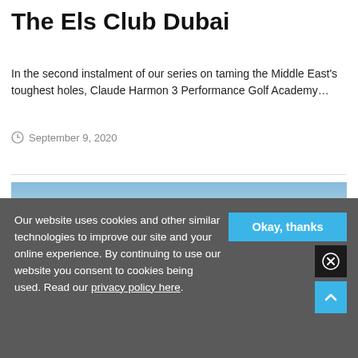The Els Club Dubai
In the second instalment of our series on taming the Middle East's toughest holes, Claude Harmon 3 Performance Golf Academy…
September 9, 2020
[Figure (photo): Outdoor golf course scene with a sky showing blue and light haze gradient, photographed at The Els Club Dubai]
Our website uses cookies and other similar technologies to improve our site and your online experience. By continuing to use our website you consent to cookies being used. Read our privacy policy here.